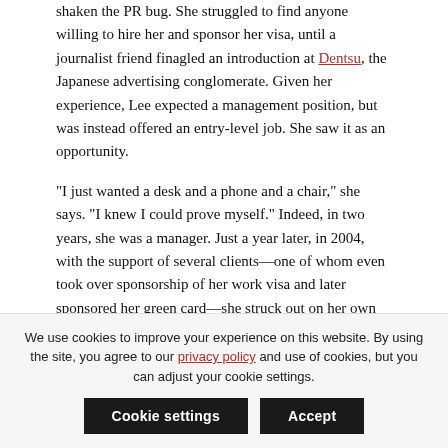shaken the PR bug. She struggled to find anyone willing to hire her and sponsor her visa, until a journalist friend finagled an introduction at Dentsu, the Japanese advertising conglomerate. Given her experience, Lee expected a management position, but was instead offered an entry-level job. She saw it as an opportunity.
"I just wanted a desk and a phone and a chair," she says. "I knew I could prove myself." Indeed, in two years, she was a manager. Just a year later, in 2004, with the support of several clients—one of whom even took over sponsorship of her work visa and later sponsored her green card—she struck out on her own with Hanna Lee Communications.
By this time, she and Anstendig were constant companions. The two met at a marketing conference in 2000. Anstendig was a fan of cocktails and suggested she meet the celebrated bartender Dale DeGroff. "I said, 'Who's Dale DeGroff?' " Lee recalls."He said, 'You really—' that is far as she got before content was obscured."
We use cookies to improve your experience on this website. By using the site, you agree to our privacy policy and use of cookies, but you can adjust your cookie settings.